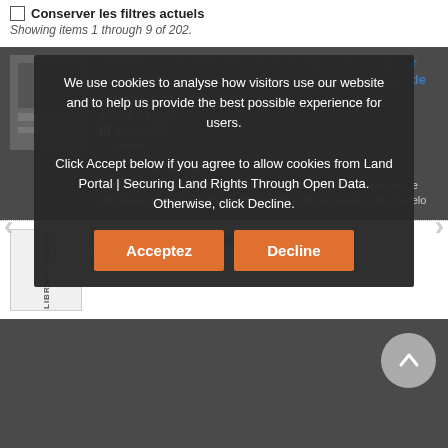Conserver les filtres actuels
Showing items 1 through 9 of 202.
Gobernanza Ambiental, una estrategia para superar las reivindicaciones de los campesinos a la líneas de tierras bajas de Bolivia
Articles et Lignes
juillet, 2022
Bolivie
En los últimos años, la Chiquitanía, Chaco vía Amazonia han experimentado adversos, campesinos e indígenas están fuertemente presionados por el avance del modelo
[Figure (screenshot): Cookie consent overlay on dark background with text: We use cookies to analyse how visitors use our website and to help us provide the best possible experience for users. Click Accept below if you agree to allow cookies from Land Portal | Securing Land Rights Through Open Data. Otherwise, click Decline. Two buttons: Acceptez and Decline.]
BTI 2022 Country Report: Georgia
Rapports et recherches